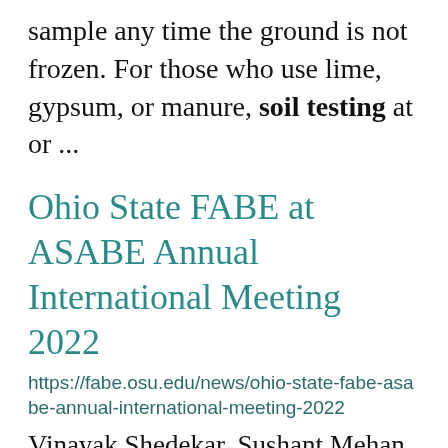sample any time the ground is not frozen. For those who use lime, gypsum, or manure, soil testing at or ...
Ohio State FABE at ASABE Annual International Meeting 2022
https://fabe.osu.edu/news/ohio-state-fabe-asabe-annual-international-meeting-2022
Vinayak Shedekar, Sushant Mehan, Haley Kujawa) Water and nutrient losses from healthy soils under ... Kevin King, Vinayak Shedekar, Sushant Mehan, Haley Kujawa) Water and nutrient losses from healthy soils ... Khanal, Alexis Londo) Evaluation of PWM solenoid valves to manipulate